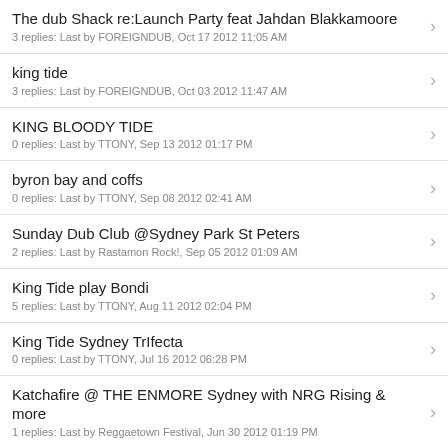The dub Shack re:Launch Party feat Jahdan Blakkamoore
3 replies: Last by FOREIGNDUB, Oct 17 2012 11:05 AM
king tide
3 replies: Last by FOREIGNDUB, Oct 03 2012 11:47 AM
KING BLOODY TIDE
0 replies: Last by TTONY, Sep 13 2012 01:17 PM
byron bay and coffs
0 replies: Last by TTONY, Sep 08 2012 02:41 AM
Sunday Dub Club @Sydney Park St Peters
2 replies: Last by Rastamon Rock!, Sep 05 2012 01:09 AM
King Tide play Bondi
5 replies: Last by TTONY, Aug 11 2012 02:04 PM
King Tide Sydney TrIfecta
0 replies: Last by TTONY, Jul 16 2012 06:28 PM
Katchafire @ THE ENMORE Sydney with NRG Rising & more
1 replies: Last by Reggaetown Festival, Jun 30 2012 01:19 PM